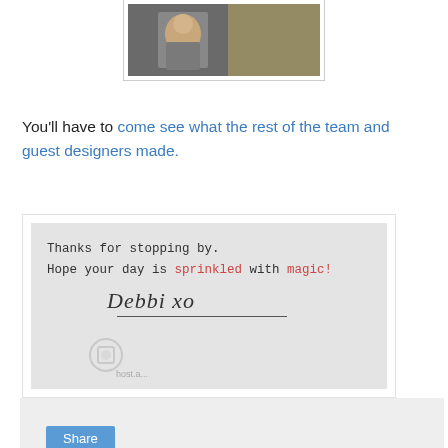[Figure (photo): Cropped photo of people at an event, partially visible at top of page]
You'll have to come see what the rest of the team and guest designers made.
[Figure (photo): Signature card image with typewriter text: Thanks for stopping by. Hope your day is sprinkled with magic! With a handwritten signature 'Debbi xo' and a photobucket watermark overlay]
[Figure (other): Share bar section with a Share button]
11 comments:
Adriana B  June 28, 2013 at 5:13 PM